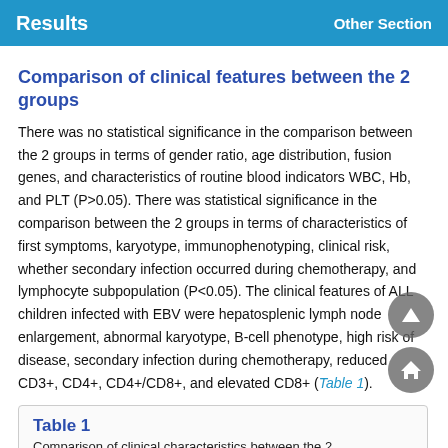Results   Other Section
Comparison of clinical features between the 2 groups
There was no statistical significance in the comparison between the 2 groups in terms of gender ratio, age distribution, fusion genes, and characteristics of routine blood indicators WBC, Hb, and PLT (P>0.05). There was statistical significance in the comparison between the 2 groups in terms of characteristics of first symptoms, karyotype, immunophenotyping, clinical risk, whether secondary infection occurred during chemotherapy, and lymphocyte subpopulation (P<0.05). The clinical features of ALL children infected with EBV were hepatosplenic lymph node enlargement, abnormal karyotype, B-cell phenotype, high risk of disease, secondary infection during chemotherapy, reduced CD3+, CD4+, CD4+/CD8+, and elevated CD8+ (Table 1).
Table 1
Comparison of clinical characteristics between the 2 groups